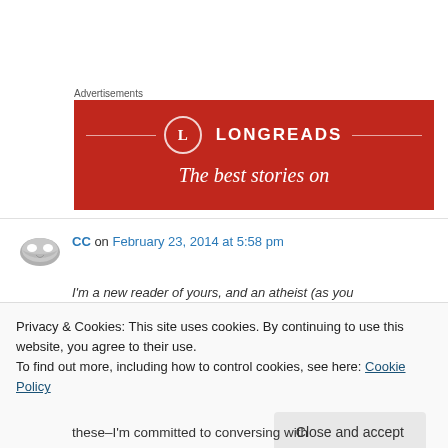Advertisements
[Figure (illustration): Longreads advertisement banner with red background, circular L logo, brand name LONGREADS, and tagline 'The best stories on']
[Figure (illustration): Gray masquerade mask avatar icon for commenter CC]
CC on February 23, 2014 at 5:58 pm
I'm a new reader of yours, and an atheist (as you
Privacy & Cookies: This site uses cookies. By continuing to use this website, you agree to their use.
To find out more, including how to control cookies, see here: Cookie Policy
Close and accept
these–I'm committed to conversing with